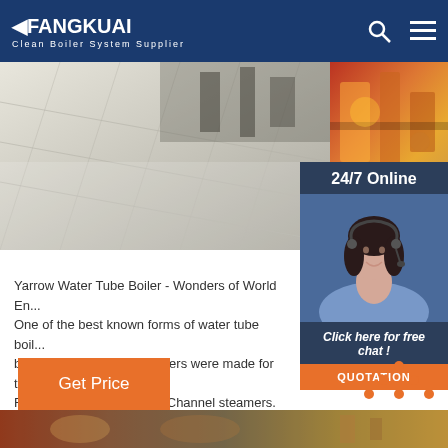FANGKUAI - Clean Boiler System Supplier
[Figure (photo): Industrial facility interior with shiny tiled floor on the left, and industrial equipment with colorful machinery on the right]
[Figure (photo): 24/7 Online customer service agent - woman with headset smiling, with 'Click here for free chat!' and QUOTATION button overlay]
Yarrow Water Tube Boiler - Wonders of World En... One of the best known forms of water tube boil... boiler. These particular boilers were made for t... Railway Company's cross-Channel steamers. Th... left hand, which are only partly erected, show th...
[Figure (other): Get Price button - orange rectangle]
[Figure (other): TOP navigation button with orange dots arranged in triangle shape and 'TOP' text]
[Figure (photo): Bottom strip showing industrial equipment photograph]